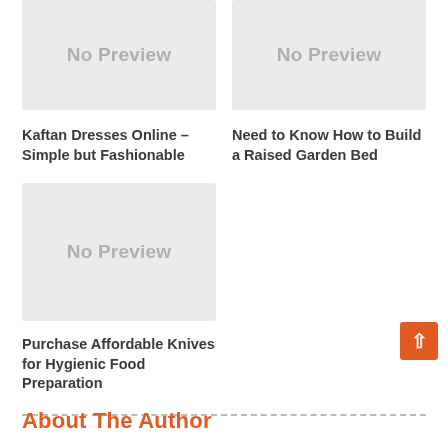[Figure (other): No Preview placeholder image box, grey background]
[Figure (other): No Preview placeholder image box, grey background]
Kaftan Dresses Online – Simple but Fashionable
Need to Know How to Build a Raised Garden Bed
[Figure (other): No Preview placeholder image box, grey background]
Purchase Affordable Knives for Hygienic Food Preparation
About The Author